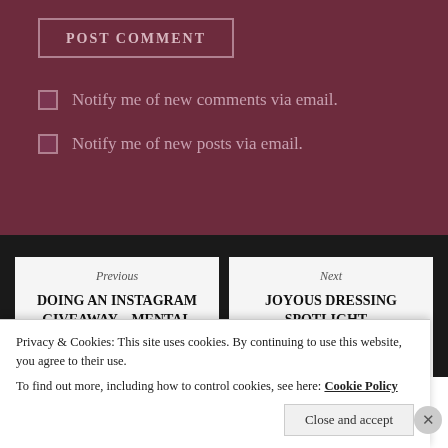POST COMMENT
Notify me of new comments via email.
Notify me of new posts via email.
Previous
DOING AN INSTAGRAM GIVEAWAY – MENTAL HEALTH INSPIRED.
Next
JOYOUS DRESSING SPOTLIGHT – CHRONICALLY LOVING
Privacy & Cookies: This site uses cookies. By continuing to use this website, you agree to their use.
To find out more, including how to control cookies, see here: Cookie Policy
Close and accept